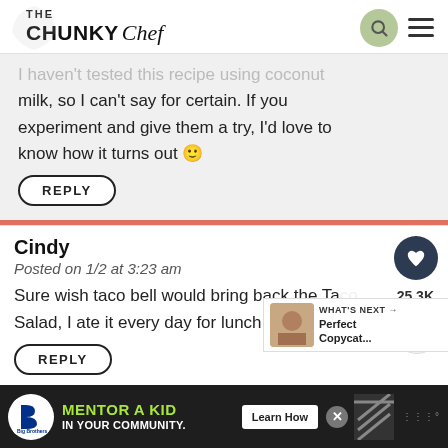THE CHUNKY Chef
I haven't tested this recipe using coconut milk, so I can't say for certain. If you experiment and give them a try, I'd love to know how it turns out 🙂
REPLY
Cindy
Posted on 1/2 at 3:23 am
25.3K
Sure wish taco bell would bring back the Taco Salad, I ate it every day for lunch
REPLY
WHAT'S NEXT → Perfect Copycat...
[Figure (screenshot): Big Brothers Big Sisters advertisement: MENTOR A KID IN YOUR COMMUNITY. Learn How button.]